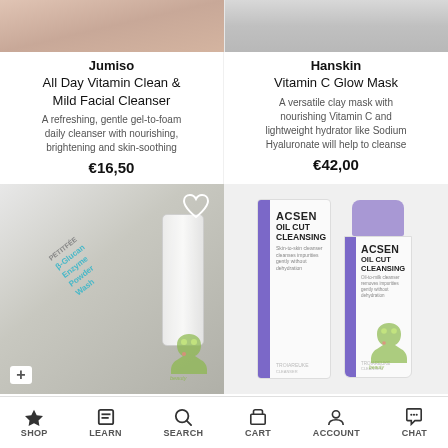[Figure (photo): Top portion of two product images — left shows a hand/cream texture (peach/skin tones), right shows a white product on grey background]
Jumiso
All Day Vitamin Clean & Mild Facial Cleanser
A refreshing, gentle gel-to-foam daily cleanser with nourishing, brightening and skin-soothing
€16,50
Hanskin
Vitamin C Glow Mask
A versatile clay mask with nourishing Vitamin C and lightweight hydrator like Sodium Hyaluronate will help to cleanse
€42,00
[Figure (photo): Petitfee B-Glucan Enzyme Powder Wash product tube on white fabric background with heart watermark icon and rabbit watermark]
[Figure (photo): ACSEN OIL CUT CLEANSING product — box packaging and bottle with purple cap and stripe, rabbit watermark overlay]
SHOP    LEARN    SEARCH    CART    ACCOUNT    CHAT